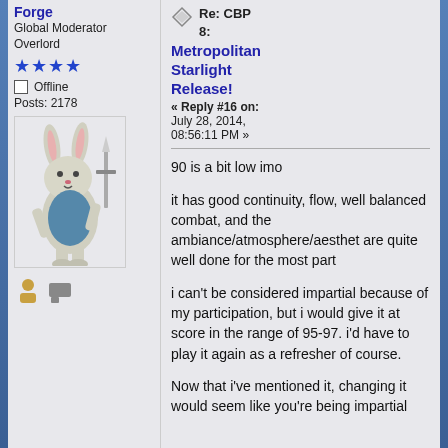Forge
Global Moderator Overlord
[Figure (other): Four blue star rating icons]
Offline
Posts: 2178
[Figure (illustration): Avatar image of a cartoon rabbit warrior holding a sword]
[Figure (other): User action icons (profile, message)]
Re: CBP 8: Metropolitan Starlight Release!
« Reply #16 on: July 28, 2014, 08:56:11 PM »
90 is a bit low imo
it has good continuity, flow, well balanced combat, and the ambiance/atmosphere/aesthet are quite well done for the most part
i can't be considered impartial because of my participation, but i would give it at score in the range of 95-97. i'd have to play it again as a refresher of course.
Now that i've mentioned it, changing it would seem like you're being impartial